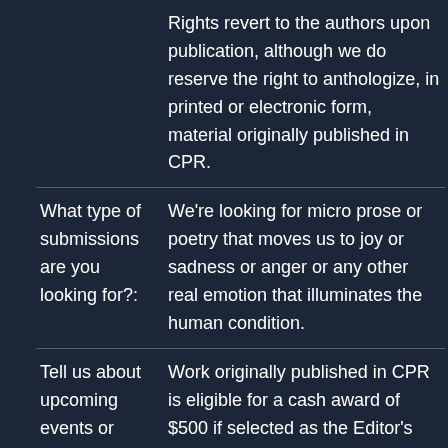|  | Rights revert to the authors upon publication, although we do reserve the right to anthologize, in printed or electronic form, material originally published in CPR. |
| What type of submissions are you looking for?: | We're looking for micro prose or poetry that moves us to joy or sadness or anger or any other real emotion that illuminates the human condition. |
| Tell us about upcoming events or contests: | Work originally published in CPR is eligible for a cash award of $500 if selected as the Editor's Favorite for the calendar year. In case of more than one selection, the award is shared equally |